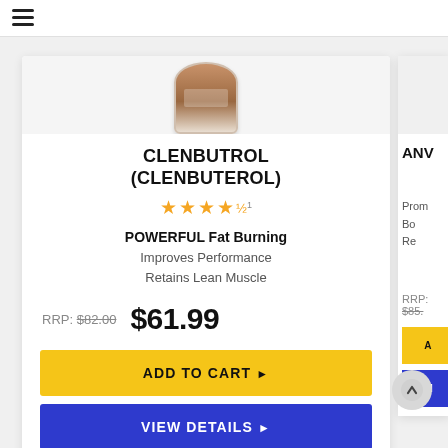☰ (navigation menu)
[Figure (photo): Partial product container image (brown supplement jar) visible at top of card]
CLENBUTROL (CLENBUTEROL)
★★★★½ (4.5 star rating)
POWERFUL Fat Burning
Improves Performance
Retains Lean Muscle
RRP: $82.00   $61.99
ADD TO CART ▶
VIEW DETAILS ▶
ANV... (partial second card title)
Prom...
Bo...
Re... (partial second card features)
RRP: $85... (partial second card price)
A... (partial ADD TO CART button)
VI... (partial VIEW DETAILS button)